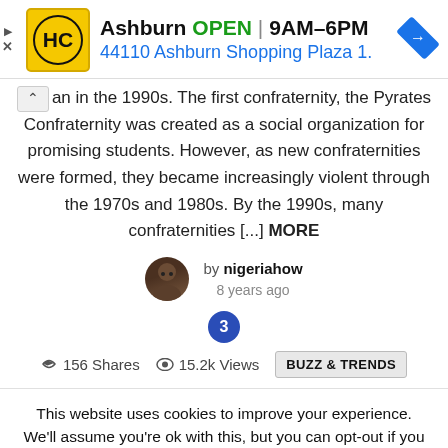[Figure (screenshot): Advertisement banner for HC with Ashburn location showing OPEN 9AM-6PM and address 44110 Ashburn Shopping Plaza 1.]
jan in the 1990s. The first confraternity, the Pyrates Confraternity was created as a social organization for promising students. However, as new confraternities were formed, they became increasingly violent through the 1970s and 1980s. By the 1990s, many confraternities [...] MORE
by nigeriahow
8 years ago
3
156 Shares   15.2k Views   BUZZ & TRENDS
This website uses cookies to improve your experience. We'll assume you're ok with this, but you can opt-out if you wish.
Cookie settings   ACCEPT